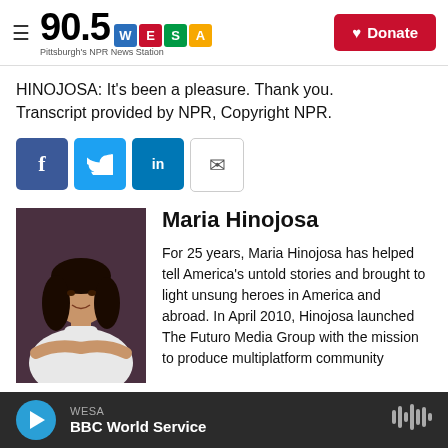90.5 WESA – Pittsburgh's NPR News Station
HINOJOSA: It's been a pleasure. Thank you. Transcript provided by NPR, Copyright NPR.
[Figure (infographic): Share buttons: Facebook, Twitter, LinkedIn, Email]
[Figure (photo): Headshot of Maria Hinojosa in white turtleneck]
Maria Hinojosa
For 25 years, Maria Hinojosa has helped tell America's untold stories and brought to light unsung heroes in America and abroad. In April 2010, Hinojosa launched The Futuro Media Group with the mission to produce multiplatform community…
WESA – BBC World Service